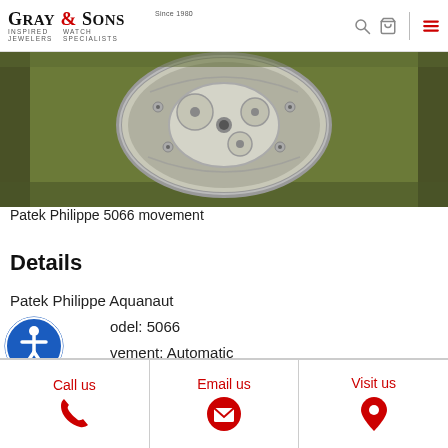Gray & Sons Inspired Jewelers Watch Specialists
[Figure (photo): Close-up photo of a Patek Philippe 5066 watch movement, showing the open case back with rotor and mechanical movement components, placed on an olive/green-tinted cushion surface.]
Patek Philippe 5066 movement
Details
Patek Philippe Aquanaut
odel: 5066
vement: Automatic
Case size: 34mm